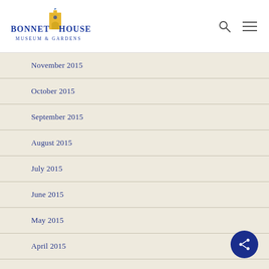[Figure (logo): Bonnet House Museum & Gardens logo with yellow building and blue text]
November 2015
October 2015
September 2015
August 2015
July 2015
June 2015
May 2015
April 2015
March 2015